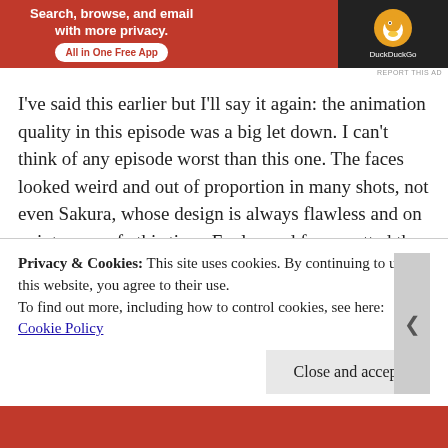[Figure (screenshot): DuckDuckGo advertisement banner with orange/red background, text 'Search, browse, and email with more privacy. All in One Free App' and DuckDuckGo logo on dark right panel]
I've said this earlier but I'll say it again: the animation quality in this episode was a big let down. I can't think of any episode worst than this one. The faces looked weird and out of proportion in many shots, not even Sakura, whose design is always flawless and on point, was safe this time. Eagle eyed fans spotted the wrong card (AQUA)
Privacy & Cookies: This site uses cookies. By continuing to use this website, you agree to their use.
To find out more, including how to control cookies, see here: Cookie Policy